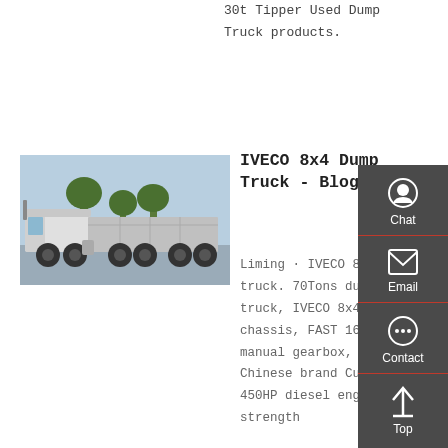30t Tipper Used Dump Truck products.
Get a Quote
[Figure (photo): White IVECO heavy truck tractor unit parked outdoors, side view, trees and other vehicles in background]
IVECO 8x4 Dump Truck - Blogger
Liming · IVECO 8x4 Dump truck. 70Tons dump tipper truck, IVECO 8x4 LHD chassis, FAST 16 shift manual gearbox, famous Chinese brand Cursor 450HP diesel engine, high strength